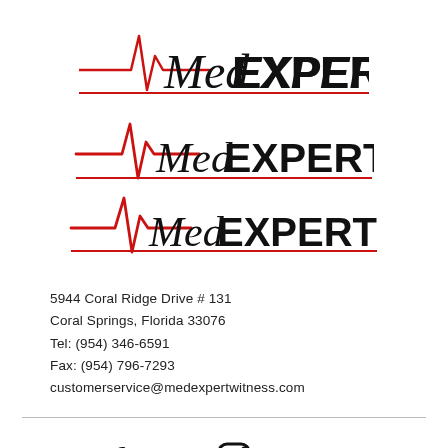[Figure (logo): MedEXPERTwitness logo with red heartbeat/EKG line above the text]
5944 Coral Ridge Drive # 131
Coral Springs, Florida 33076
Tel: (954) 346-6591
Fax: (954) 796-7293
customerservice@medexpertwitness.com
[Figure (infographic): Social media icons: Facebook (f), Twitter (bird), Instagram (camera), Google+ (G+)]
© 2021 Med Expert Witness | All Rights Reserved | Privacy Policy | Website by Think Big Websites